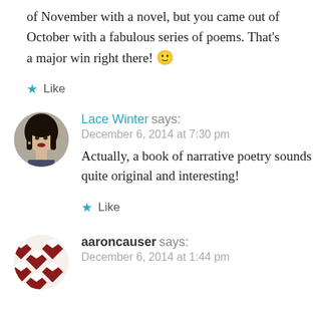of November with a novel, but you came out of October with a fabulous series of poems. That's a major win right there! 🙂
★ Like
Lace Winter says:
December 6, 2014 at 7:30 pm
Actually, a book of narrative poetry sounds quite original and interesting!
★ Like
aaroncauser says:
December 6, 2014 at 1:44 pm